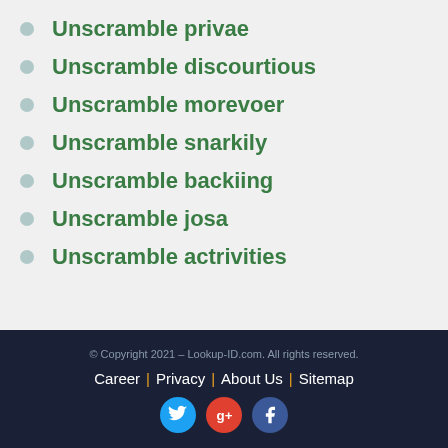Unscramble privae
Unscramble discourtious
Unscramble morevoer
Unscramble snarkily
Unscramble backiing
Unscramble josa
Unscramble actrivities
© Copyright 2021 – Lookup-ID.com. All rights reserved. Career | Privacy | About Us | Sitemap